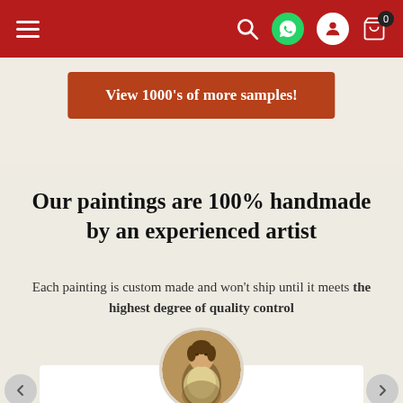[Figure (screenshot): Website navigation bar with dark red background, hamburger menu on left, search, WhatsApp, user, and cart icons on right]
View 1000's of more samples!
Our paintings are 100% handmade by an experienced artist
Each painting is custom made and won't ship until it meets the highest degree of quality control
[Figure (photo): Circular portrait of a classical painting showing a young man in historical costume]
Experienced Artists
All our artists have at least 15 years of experience. We only hire qualified artists with advanced